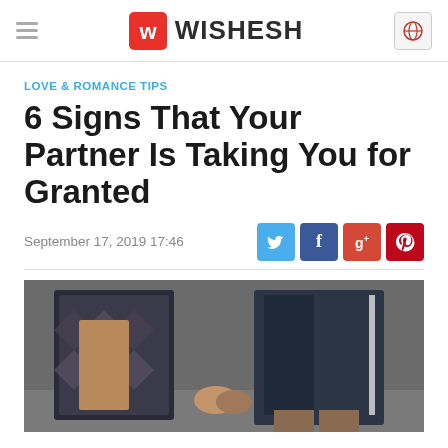WISHESH
LOVE & ROMANCE TIPS
6 Signs That Your Partner Is Taking You for Granted
September 17, 2019 17:46
[Figure (photo): A couple holding hands outdoors, woman wearing a patterned coat and man wearing a dark jacket]